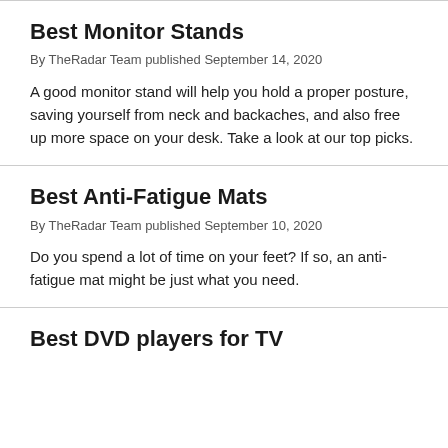Best Monitor Stands
By TheRadar Team published September 14, 2020
A good monitor stand will help you hold a proper posture, saving yourself from neck and backaches, and also free up more space on your desk. Take a look at our top picks.
Best Anti-Fatigue Mats
By TheRadar Team published September 10, 2020
Do you spend a lot of time on your feet? If so, an anti-fatigue mat might be just what you need.
Best DVD players for TV